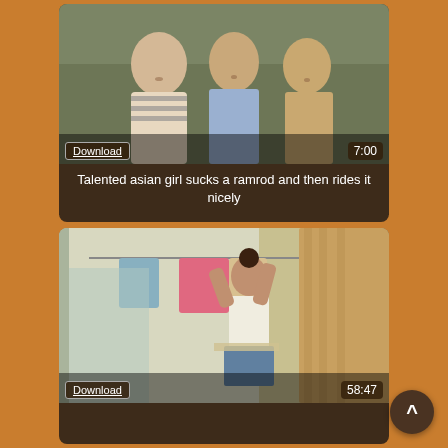[Figure (screenshot): Video thumbnail showing three young Asian men, one wearing a striped polo with backpack, others shirtless, with Download button and 7:00 duration overlay]
Talented asian girl sucks a ramrod and then rides it nicely
[Figure (screenshot): Video thumbnail showing a woman in a white top and short skirt hanging laundry near a window with curtains, with Download button and 58:47 duration overlay]